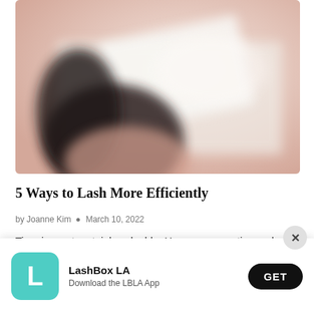[Figure (photo): Blurred overhead photo of a person with dark hair leaning over a table with white/cream papers or books, soft pink tones in the background.]
5 Ways to Lash More Efficiently
by Joanne Kim  •  March 10, 2022
Time is most certainly valuable. Here are some tips and tricks I
[Figure (infographic): App install banner for LashBox LA. Contains teal/turquoise app icon with white 'L' letter, app name 'LashBox LA', subtitle 'Download the LBLA App', a black 'GET' button, and a close (X) button.]